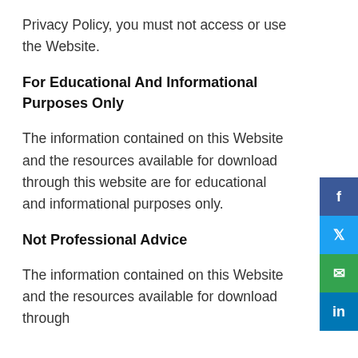Privacy Policy, you must not access or use the Website.
For Educational And Informational Purposes Only
The information contained on this Website and the resources available for download through this website are for educational and informational purposes only.
Not Professional Advice
The information contained on this Website and the resources available for download through